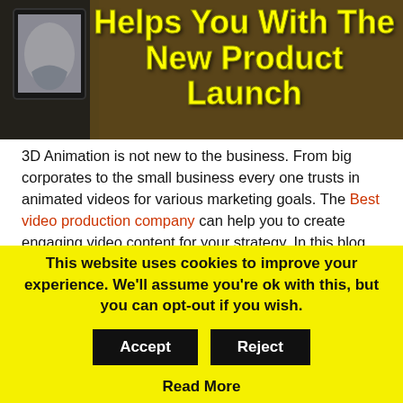[Figure (photo): Dark background photo of someone holding a tablet device showing artwork, with large yellow bold text overlay reading 'Helps You With The New Product Launch']
Helps You With The New Product Launch
3D Animation is not new to the business. From big corporates to the small business every one trusts in animated videos for various marketing goals. The Best video production company can help you to create engaging video content for your strategy. In this blog, we will discuss the challenges companies face while launching a new product. And how 3D product animation helps them. Let's start with
This website uses cookies to improve your experience. We'll assume you're ok with this, but you can opt-out if you wish.
Accept | Reject
Read More